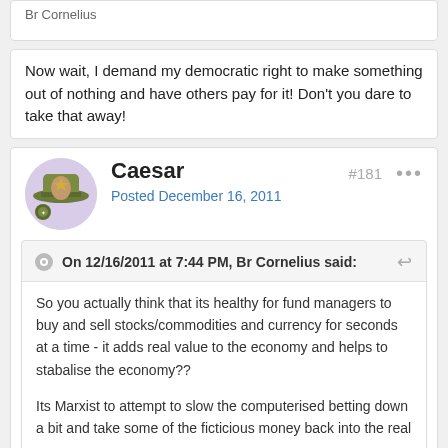Br Cornelius
Now wait, I demand my democratic right to make something out of nothing and have others pay for it! Don't you dare to take that away!
Caesar
Posted December 16, 2011
#181
On 12/16/2011 at 7:44 PM, Br Cornelius said:
So you actually think that its healthy for fund managers to buy and sell stocks/commodities and currency for seconds at a time - it adds real value to the economy and helps to stabalise the economy??

Its Marxist to attempt to slow the computerised betting down a bit and take some of the ficticious money back into the real economy.